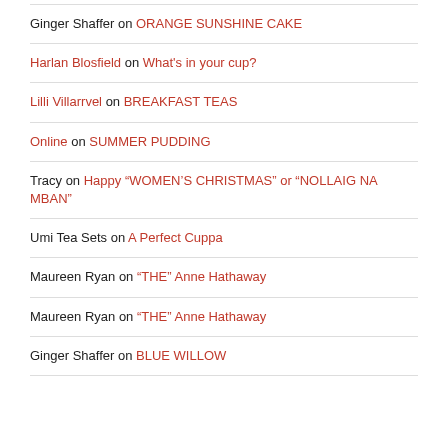Ginger Shaffer on ORANGE SUNSHINE CAKE
Harlan Blosfield on What's in your cup?
Lilli Villarrvel on BREAKFAST TEAS
Online on SUMMER PUDDING
Tracy on Happy “WOMEN’S CHRISTMAS” or “NOLLAIG NA MBAN”
Umi Tea Sets on A Perfect Cuppa
Maureen Ryan on “THE” Anne Hathaway
Maureen Ryan on “THE” Anne Hathaway
Ginger Shaffer on BLUE WILLOW